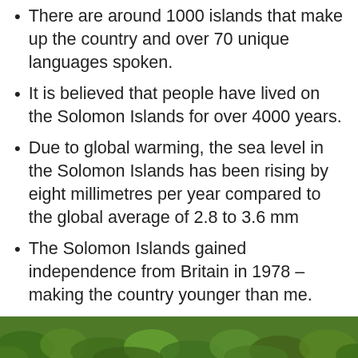There are around 1000 islands that make up the country and over 70 unique languages spoken.
It is believed that people have lived on the Solomon Islands for over 4000 years.
Due to global warming, the sea level in the Solomon Islands has been rising by eight millimetres per year compared to the global average of 2.8 to 3.6 mm
The Solomon Islands gained independence from Britain in 1978 – making the country younger than me.
While very dark skinned, 5-10% of Solomon Islanders carry a gene for blond hair!
I really want to go there someday.
[Figure (photo): Green tropical foliage photo strip at bottom of page]